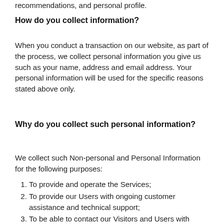recommendations, and personal profile.
How do you collect information?
When you conduct a transaction on our website, as part of the process, we collect personal information you give us such as your name, address and email address. Your personal information will be used for the specific reasons stated above only.
Why do you collect such personal information?
We collect such Non-personal and Personal Information for the following purposes:
To provide and operate the Services;
To provide our Users with ongoing customer assistance and technical support;
To be able to contact our Visitors and Users with general or personalized service-related notices and promotional messages;